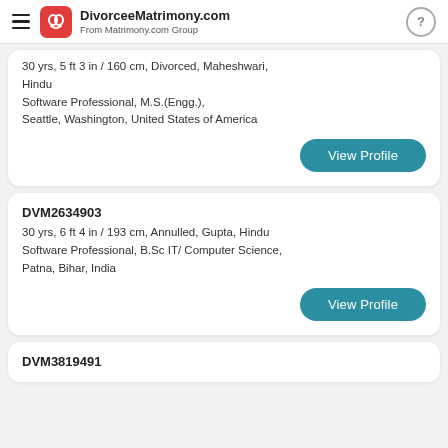DivorceeMatrimony.com From Matrimony.com Group
30 yrs, 5 ft 3 in / 160 cm, Divorced, Maheshwari, Hindu
Software Professional, M.S.(Engg.),
Seattle, Washington, United States of America
View Profile
DVM2634903
30 yrs, 6 ft 4 in / 193 cm, Annulled, Gupta, Hindu
Software Professional, B.Sc IT/ Computer Science,
Patna, Bihar, India
View Profile
DVM3819491